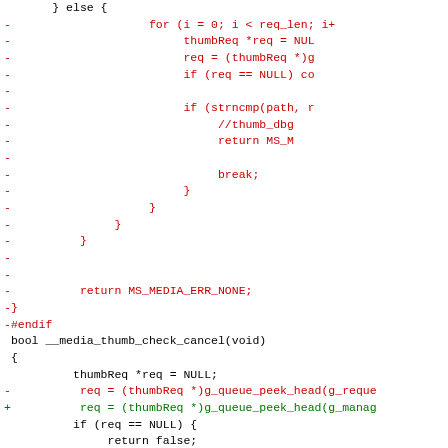[Figure (other): Source code diff showing deleted (red) and added (green) lines in a C/C++ file related to media thumbnail functions, with a hunk header in blue.]